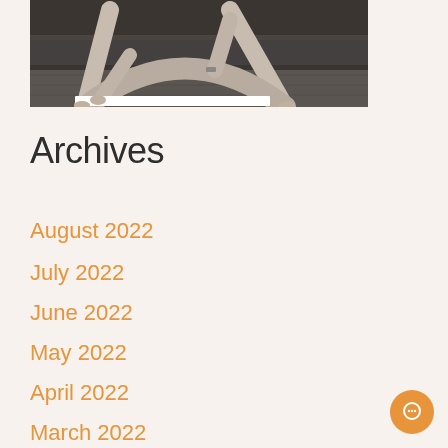[Figure (photo): Black and white photograph of a person doing a yoga or dance pose (wide-legged stretch/lunge) on a wooden floor with steps in the background. Only the lower body is visible, with arms reaching down to the floor near a white rectangular prop.]
Archives
August 2022
July 2022
June 2022
May 2022
April 2022
March 2022